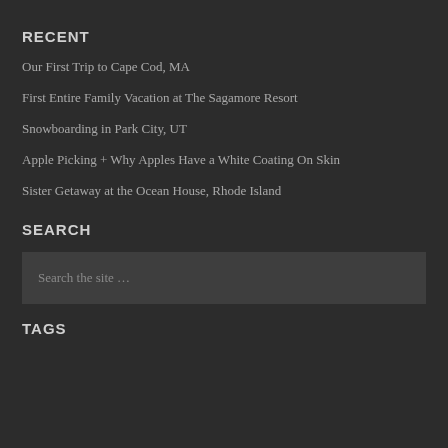RECENT
Our First Trip to Cape Cod, MA
First Entire Family Vacation at The Sagamore Resort
Snowboarding in Park City, UT
Apple Picking + Why Apples Have a White Coating On Skin
Sister Getaway at the Ocean House, Rhode Island
SEARCH
Search the site …
TAGS